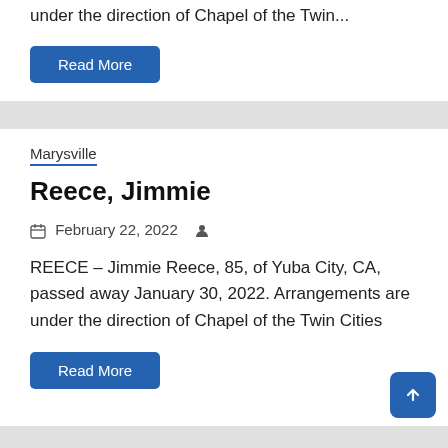under the direction of Chapel of the Twin...
Read More
Marysville
Reece, Jimmie
February 22, 2022
REECE – Jimmie Reece, 85, of Yuba City, CA, passed away January 30, 2022. Arrangements are under the direction of Chapel of the Twin Cities
Read More